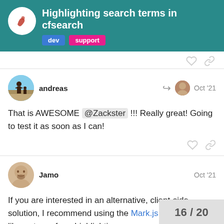Highlighting search terms in cfsearch — dev support
That is AWESOME @Zackster !!! Really great! Going to test it as soon as I can!
If you are interested in an alternative, client-side solution, I recommend using the Mark.js 2 javascript library to perform highlighting.
Mark.js "can be used to dynamically mark search terms or custom regular expressions and offers you